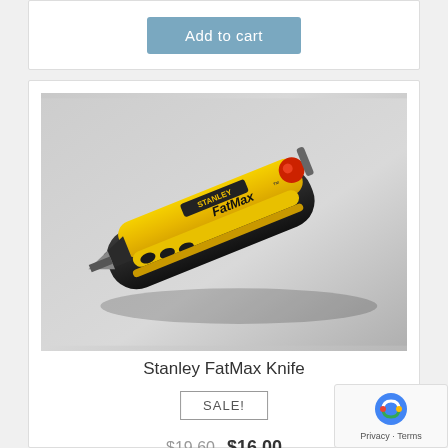[Figure (other): Add to cart button at top of page, partially visible card]
[Figure (photo): Stanley FatMax utility knife, yellow and black body with red button, photographed on gray background]
Stanley FatMax Knife
SALE!
$19.60  $16.00